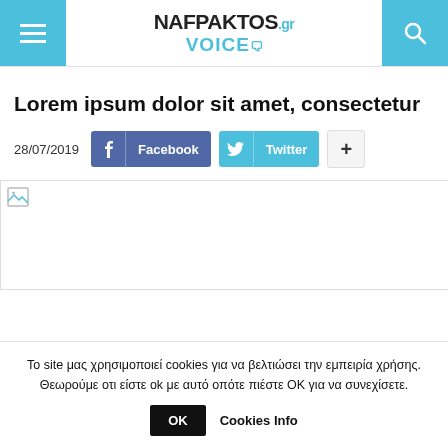NAFPAKTOS.gr VOICE — site header with menu and search buttons
Lorem ipsum dolor sit amet, consectetur
28/07/2019  Facebook  Twitter  +
[Figure (photo): Article image placeholder (broken/unloaded image)]
Το site μας χρησιμοποιεί cookies για να βελτιώσει την εμπειρία χρήσης. Θεωρούμε οτι είστε ok με αυτό οπότε πιέστε OK για να συνεχίσετε.
OK  Cookies Info